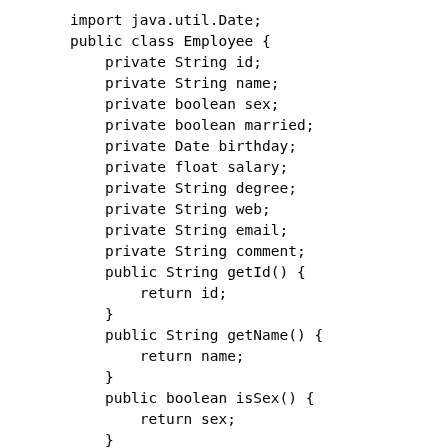import java.util.Date;
public class Employee {
    private String id;
    private String name;
    private boolean sex;
    private boolean married;
    private Date birthday;
    private float salary;
    private String degree;
    private String web;
    private String email;
    private String comment;
    public String getId() {
        return id;
    }
    public String getName() {
        return name;
    }
    public boolean isSex() {
        return sex;
    }
    public boolean isMarried() {
        return married;
    }
    public Date getBirthday() {
        return birthday;
    }
    public float getSalary() {
        return salary;